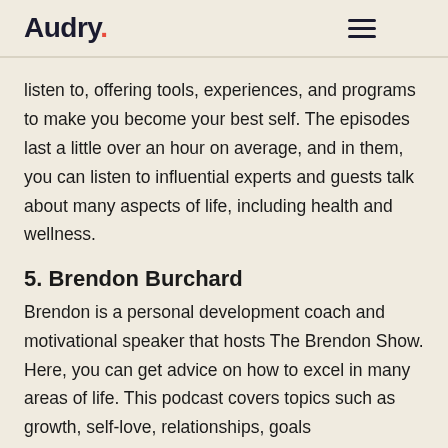Audry.
listen to, offering tools, experiences, and programs to make you become your best self. The episodes last a little over an hour on average, and in them, you can listen to influential experts and guests talk about many aspects of life, including health and wellness.
5. Brendon Burchard
Brendon is a personal development coach and motivational speaker that hosts The Brendon Show. Here, you can get advice on how to excel in many areas of life. This podcast covers topics such as growth, self-love, relationships, goals